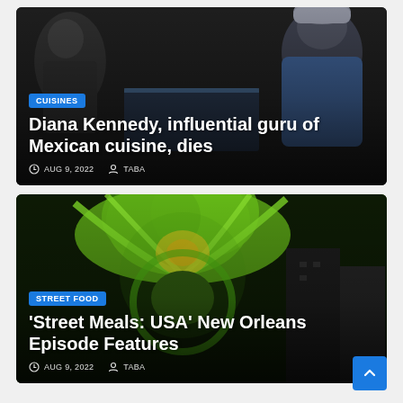[Figure (photo): News card with dark kitchen scene background. Category badge: CUISINES. Title: Diana Kennedy, influential guru of Mexican cuisine, dies. Date: AUG 9, 2022. Author: TABA.]
[Figure (photo): News card with green carnival/street festival scene background. Category badge: STREET FOOD. Title: 'Street Meals: USA' New Orleans Episode Features. Date: AUG 9, 2022. Author: TABA.]